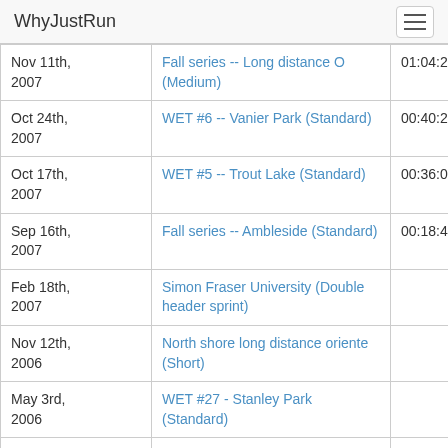WhyJustRun
| Date | Event | Time |
| --- | --- | --- |
| Nov 11th, 2007 | Fall series -- Long distance O (Medium) | 01:04:28 |
| Oct 24th, 2007 | WET #6 -- Vanier Park (Standard) | 00:40:24 |
| Oct 17th, 2007 | WET #5 -- Trout Lake (Standard) | 00:36:00 |
| Sep 16th, 2007 | Fall series -- Ambleside (Standard) | 00:18:48 |
| Feb 18th, 2007 | Simon Fraser University (Double header sprint) |  |
| Nov 12th, 2006 | North shore long distance oriente (Short) |  |
| May 3rd, 2006 | WET #27 - Stanley Park (Standard) |  |
| Mar 19th, 2006 | Burnaby Mountain Score-O (one-hour score O) |  |